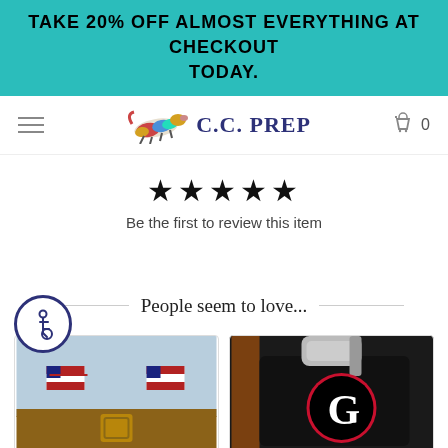TAKE 20% OFF ALMOST EVERYTHING AT CHECKOUT TODAY.
[Figure (screenshot): C.C. Prep logo with colorful running fox/dog illustration and store name in navy blue serif font]
[Figure (other): Five black star rating icons]
Be the first to review this item
[Figure (other): Accessibility icon button - circular blue bordered button with wheelchair accessibility symbol]
People seem to love...
[Figure (photo): American flag ribbon belt with leather buckle on light blue background]
[Figure (photo): Dark needlepoint flask with UGA Bulldogs logo, silver cap and brown leather side]